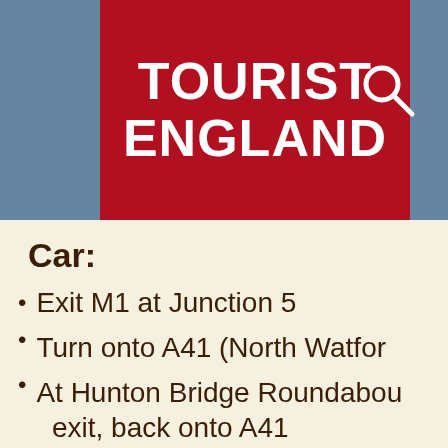[Figure (logo): Tourist England logo: white bold text 'TOURIST ENGLAND' on dark red/crimson background, with a search icon (magnifying glass) on the blue-grey header to the right]
Car:
Exit M1 at Junction 5
Turn onto A41 (North Watford…
At Hunton Bridge Roundabout… exit, back onto A41
Stay in the left lane and take…
Stay in the left lane and take…